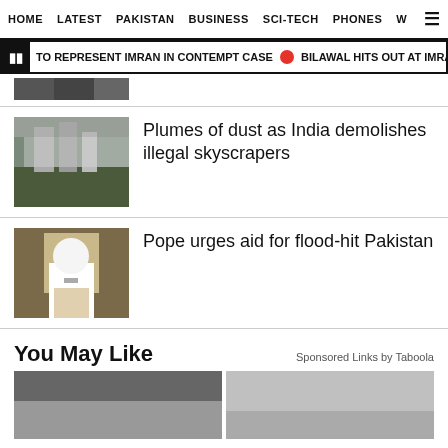HOME  LATEST  PAKISTAN  BUSINESS  SCI-TECH  PHONES  W
TO REPRESENT IMRAN IN CONTEMPT CASE  •  BILAWAL HITS OUT AT IMRAN FOR H
[Figure (photo): Partial cropped image at top of page]
Plumes of dust as India demolishes illegal skyscrapers
[Figure (photo): Demolition with dust cloud over skyscrapers]
Pope urges aid for flood-hit Pakistan
[Figure (photo): Pope Francis speaking at podium]
You May Like
Sponsored Links by Taboola
[Figure (photo): Sponsored content images at bottom]